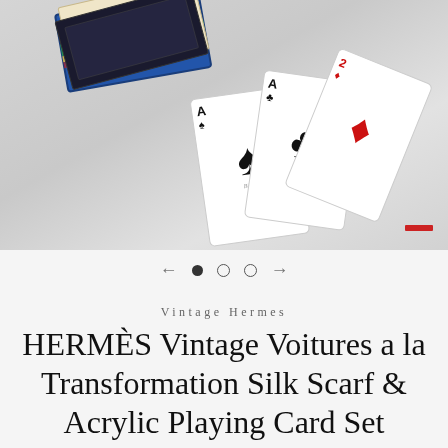[Figure (photo): Photograph of Hermès and Bicycle playing card box set with several playing cards fanned out including aces, against a light grey background.]
← ● ○ ○ →
Vintage Hermes
HERMÈS Vintage Voitures a la Transformation Silk Scarf & Acrylic Playing Card Set